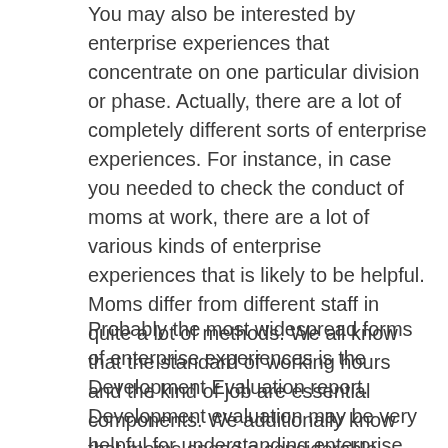You may also be interested by enterprise experiences that concentrate on one particular division or phase. Actually, there are a lot of completely different sorts of enterprise experiences. For instance, in case you needed to check the conduct of moms at work, there are a lot of various kinds of enterprise experiences that is likely to be helpful. Moms differ from different staff in quite a lot of methods. We all know that the standard of working hours and the kind of job are essential components. We additionally know that moms spend a considerable amount of time away from their kids.
Probably the most widespread forms of enterprise experiences is the Development Evaluation report. Development evaluation may be very helpful for understanding enterprise actions which can be happening over a time period. Probably the most widespread causes for acquiring pattern evaluation experiences is the need to know the financial influence of explicit enterprise actions.